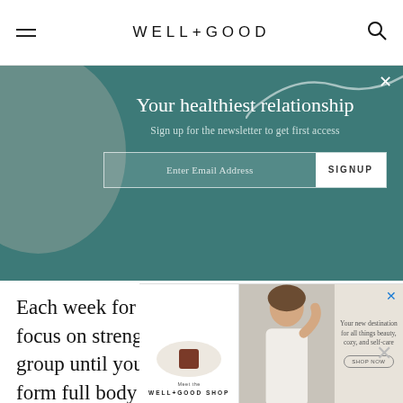WELL+GOOD
[Figure (screenshot): Newsletter signup overlay on teal/dark-green background with decorative grey circle and white squiggle. Title: 'Your healthiest relationship'. Subtitle: 'Sign up for the newsletter to get first access'. Email input field with SIGNUP button.]
Each week for the next four weeks, you'll focus on strengthening a different muscle group until you're ready to take on a longer-form full body slider workout at the end of the month. First up? Your core.
[Figure (screenshot): Advertisement banner for WELL+GOOD SHOP. Three-panel ad: left panel shows a candle on a white plate, center panel shows a woman touching her hair, right panel has text 'Your new destination for all things beauty, cozy, and self-care' with a SHOP NOW button.]